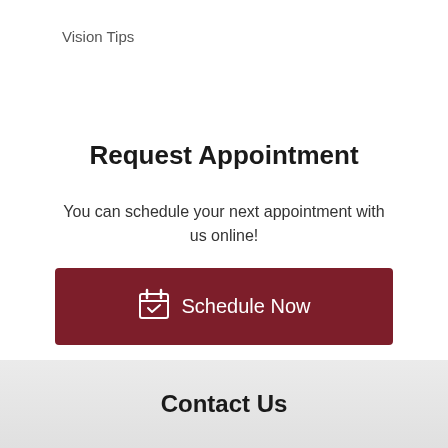Vision Tips
Request Appointment
You can schedule your next appointment with us online!
Schedule Now
440-595-1080
Contact Us